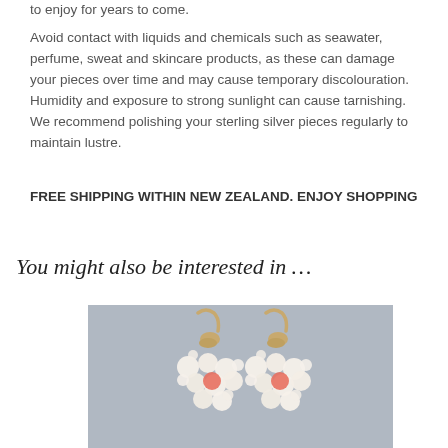to enjoy for years to come.
Avoid contact with liquids and chemicals such as seawater, perfume, sweat and skincare products, as these can damage your pieces over time and may cause temporary discolouration. Humidity and exposure to strong sunlight can cause tarnishing. We recommend polishing your sterling silver pieces regularly to maintain lustre.
FREE SHIPPING WITHIN NEW ZEALAND. ENJOY SHOPPING
You might also be interested in …
[Figure (photo): Close-up photo of gold wire-wrapped pearl and coral cluster earrings with small white pearls and coral beads on a grey background]